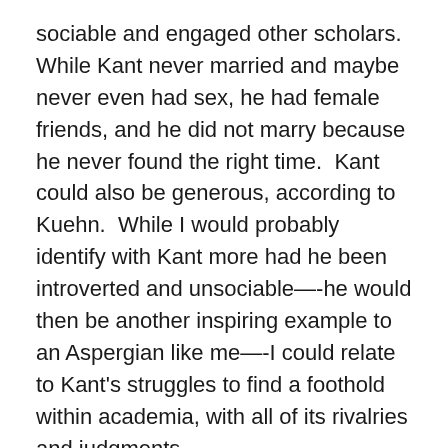sociable and engaged other scholars.  While Kant never married and maybe never even had sex, he had female friends, and he did not marry because he never found the right time.  Kant could also be generous, according to Kuehn.  While I would probably identify with Kant more had he been introverted and unsociable—-he would then be another inspiring example to an Aspergian like me—-I could relate to Kant's struggles to find a foothold within academia, with all of its rivalries and judgments.
Regarding philosophy, Kuehn's book is useful for those who would like summaries of the various stages of Kant's thought and works.  I am still hazy about Kant's thought, however, for a variety of reasons.  For one, Kant changed his mind about things.  Earlier, for example, Kant radically distinguished between what we know empirically and what we know rationally (a priori, prior to experience).  Later on